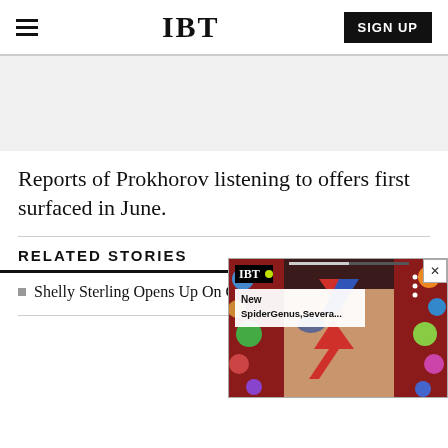IBT
[Figure (other): Gray advertisement placeholder area]
Reports of Prokhorov listening to offers first surfaced in June.
RELATED STORIES
[Figure (screenshot): IBT video widget overlay showing a David Bowie face-painted image with colorful spheres, titled 'New SpiderGenus,Severa...' with IBT logo]
Shelly Sterling Opens Up On Clippers Sale, Donald Sterling